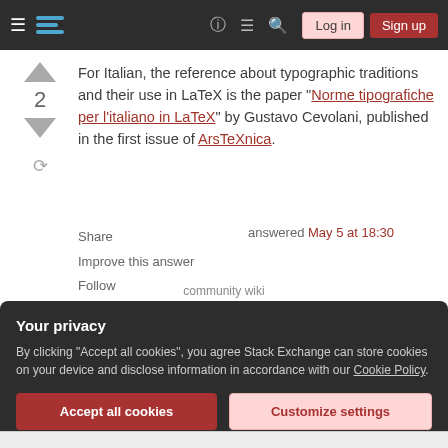Stack Exchange navigation bar with Log in and Sign up buttons
For Italian, the reference about typographic traditions and their use in LaTeX is the paper "Norme tipografiche per l'italiano in LaTeX" by Gustavo Cevolani, published in the first issue of ArsTeXnica.
Share
Improve this answer
Follow
answered May 5 at 18:30
community wiki
Your privacy
By clicking "Accept all cookies", you agree Stack Exchange can store cookies on your device and disclose information in accordance with our Cookie Policy.
Accept all cookies
Customize settings